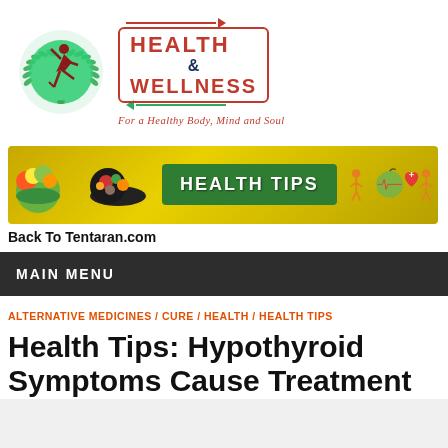[Figure (logo): Health & Wellness website logo with circular yoga figure and green laurel wreath, alongside text 'HEALTH & WELLNESS' in red with tagline 'For a Healthy Body, Mind and Soul']
[Figure (infographic): Health Tips banner with colorful fruits, vegetables, and health imagery on golden background with green sign reading 'HEALTH TIPS']
Back To Tentaran.com
MAIN MENU
ALTERNATIVE MEDICINES / CURE / HEALTH / HEALTH TIPS
Health Tips: Hypothyroid Symptoms Cause Treatment